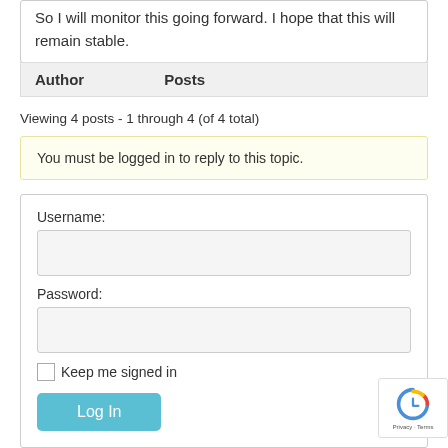So I will monitor this going forward. I hope that this will remain stable.
| Author | Posts |
| --- | --- |
Viewing 4 posts - 1 through 4 (of 4 total)
You must be logged in to reply to this topic.
Username:
Password:
Keep me signed in
Log In